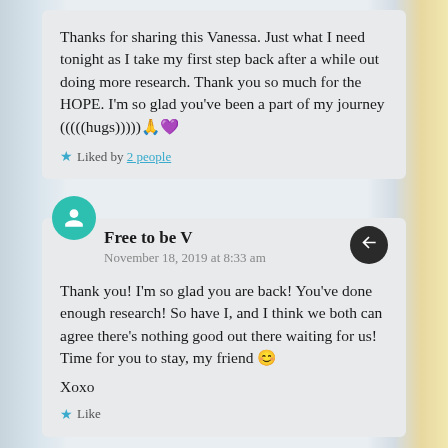Thanks for sharing this Vanessa. Just what I need tonight as I take my first step back after a while out doing more research. Thank you so much for the HOPE. I'm so glad you've been a part of my journey (((((hugs)))))🙏💜
★ Liked by 2 people
Free to be V
November 18, 2019 at 8:33 am
Thank you! I'm so glad you are back! You've done enough research! So have I, and I think we both can agree there's nothing good out there waiting for us! Time for you to stay, my friend 😊
Xoxo
★ Like